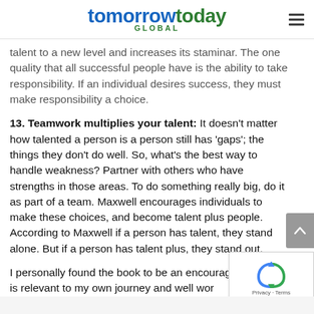tomorrowtoday GLOBAL
talent to a new level and increases its staminar. The one quality that all successful people have is the ability to take responsibility. If an individual desires success, they must make responsibility a choice.
13. Teamwork multiplies your talent: It doesn't matter how talented a person is a person still has 'gaps'; the things they don't do well. So, what's the best way to handle weakness? Partner with others who have strengths in those areas. To do something really big, do it as part of a team. Maxwell encourages individuals to make these choices, and become talent plus people. According to Maxwell if a person has talent, they stand alone. But if a person has talent plus, they stand out.
I personally found the book to be an encouraging read. It is relevant to my own journey and well wor…